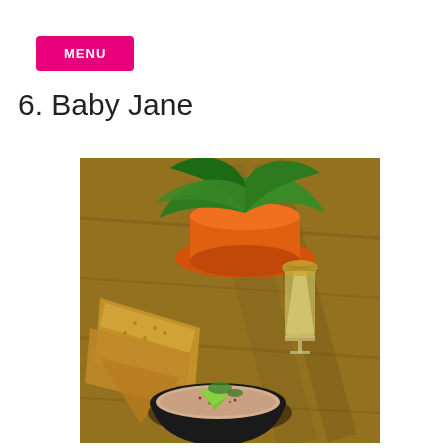MENU
6. Baby Jane
[Figure (photo): Restaurant food and drink photo: a black bowl with shrimp dip garnished with lime and herbs, crispy flatbread/chips on the left, and a cocktail glass with a grilled pineapple garnish on the right, all set on a wooden board with an orange potted plant in the background.]